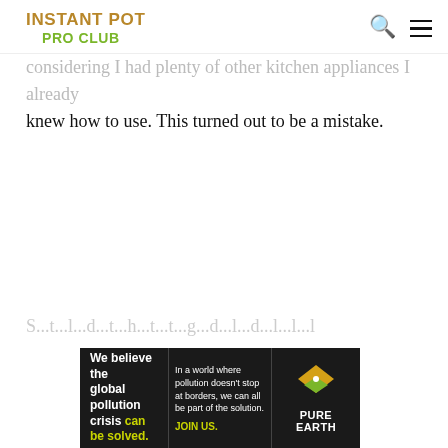INSTANT POT PRO CLUB
considering I had plenty of other kitchen appliances I already knew how to use. This turned out to be a mistake.
[Figure (infographic): Advertisement banner for Pure Earth: 'We believe the global pollution crisis can be solved. In a world where pollution doesn't stop at borders, we can all be part of the solution. JOIN US.' with Pure Earth logo (diamond/chevron shape in gold and green).]